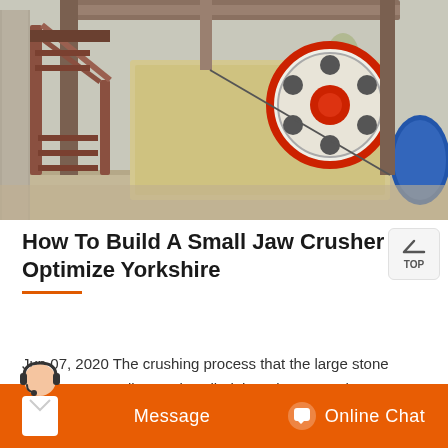[Figure (photo): Outdoor industrial jaw crusher machine with red flywheel/pulley on the right, metal staircase on the left, mounted on a structural steel frame, set in an open field with bare trees in the background.]
How To Build A Small Jaw Crusher Optimize Yorkshire
Jun 07, 2020 The crushing process that the large stone becomes a small stone is called the primary crusher. Jaw crusher has many kinds of structures while their working principles are similar. The angle between the fixed jaw and